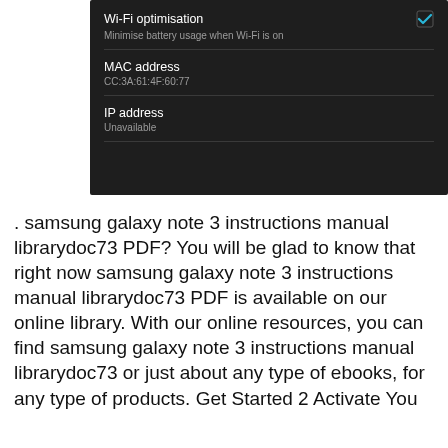[Figure (screenshot): Android Wi-Fi settings screenshot showing Wi-Fi optimisation (checked), MAC address CC:3A:61:4F:60:77, and IP address Unavailable on dark background]
. samsung galaxy note 3 instructions manual librarydoc73 PDF? You will be glad to know that right now samsung galaxy note 3 instructions manual librarydoc73 PDF is available on our online library. With our online resources, you can find samsung galaxy note 3 instructions manual librarydoc73 or just about any type of ebooks, for any type of products. Get Started 2 Activate You